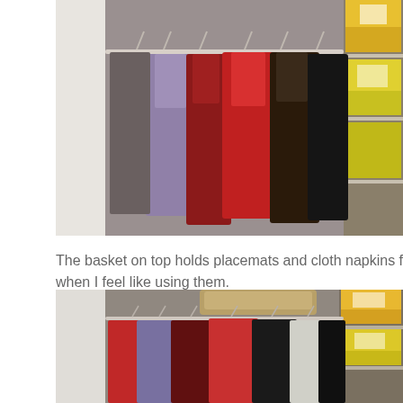[Figure (photo): Interior of a closet showing clothes hanging on a white wire rack rod. Various jackets and coats in red, purple, brown, and black are visible. On the right side are shelves with boxes and canned goods.]
The basket on top holds placemats and cloth napkins for when I feel like using them.
[Figure (photo): Second photo of the same closet interior showing clothes hanging on a white wire rack. Visible are red, purple, brown, and black jackets and coats. On the right side are shelves with boxes and canned goods. A basket is visible at the top.]